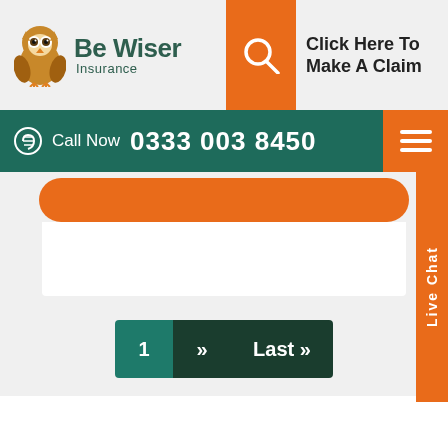[Figure (logo): Be Wiser Insurance logo with owl mascot]
Click Here To Make A Claim
Call Now  0333 003 8450
Live Chat
1  »  Last »
We use cookies on this site to enhance your user experience. By clicking the Accept button, you agree to us doing so.
Agree
More Info
No Thanks